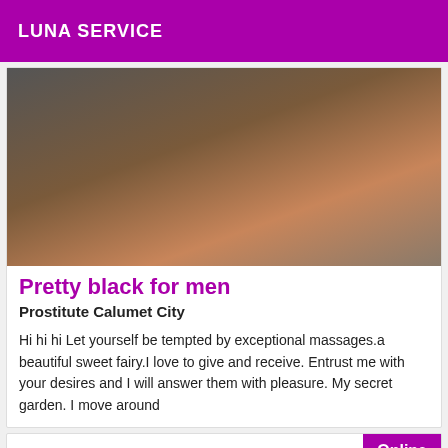LUNA SERVICE
[Figure (photo): Close-up photo of a person, cropped showing upper body/shoulder area in a grey outfit against a dark background]
Pretty black for men
Prostitute Calumet City
Hi hi hi Let yourself be tempted by exceptional massages.a beautiful sweet fairy.I love to give and receive. Entrust me with your desires and I will answer them with pleasure. My secret garden. I move around
Online